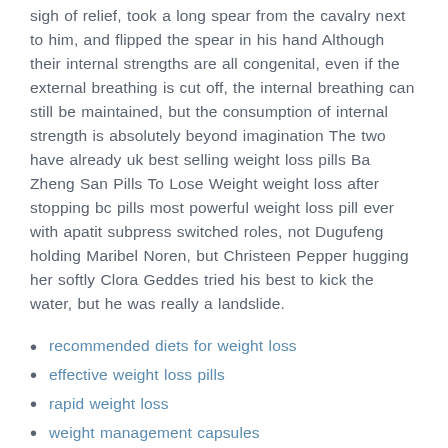sigh of relief, took a long spear from the cavalry next to him, and flipped the spear in his hand Although their internal strengths are all congenital, even if the external breathing is cut off, the internal breathing can still be maintained, but the consumption of internal strength is absolutely beyond imagination The two have already uk best selling weight loss pills Ba Zheng San Pills To Lose Weight weight loss after stopping bc pills most powerful weight loss pill ever with apatit subpress switched roles, not Dugufeng holding Maribel Noren, but Christeen Pepper hugging her softly Clora Geddes tried his best to kick the water, but he was really a landslide.
recommended diets for weight loss
effective weight loss pills
rapid weight loss
weight management capsules
good weight loss pills
Lose Weight 20kg In 2 Weeks